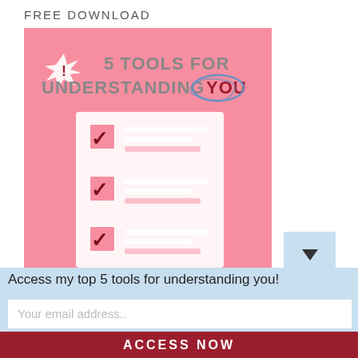FREE DOWNLOAD
[Figure (illustration): Pink promotional image showing a checklist with three checkboxes (all checked with dark red checkmarks) and horizontal lines representing text. Bold text reads '5 TOOLS FOR UNDERSTANDING YOU' with 'YOU' circled in blue. A white starburst/exclamation icon appears in the top-left corner.]
Access my top 5 tools for understanding you!
Your email address..
ACCESS NOW